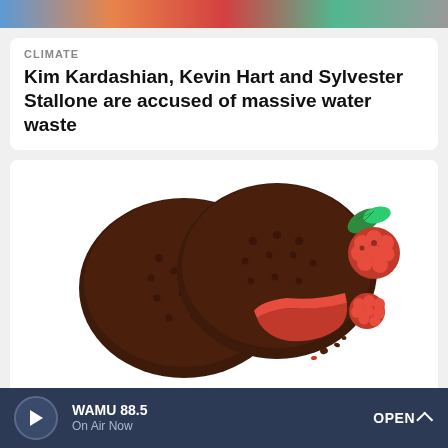[Figure (photo): Top strip showing partial faces/figures of celebrities including Kim Kardashian, Kevin Hart, and Sylvester Stallone]
CLIMATE
Kim Kardashian, Kevin Hart and Sylvester Stallone are accused of massive water waste
[Figure (photo): Two chocolate-covered cookies/pies with raspberry filling and fresh raspberries with mint leaf on white background]
FOOD
An inside look at how the Girl Scouts chose
WAMU 88.5  On Air Now  OPEN ^